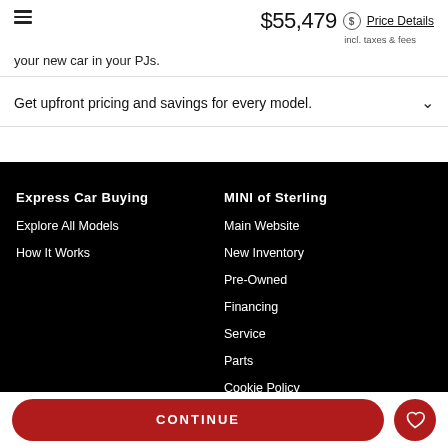$55,479 incl. taxes & fees | Price Details
your new car in your PJs.
Get upfront pricing and savings for every model.
Express Car Buying
Explore All Models
How It Works
MINI of Sterling
Main Website
New Inventory
Pre-Owned
Financing
Service
Parts
Cookie Policy
CONTINUE